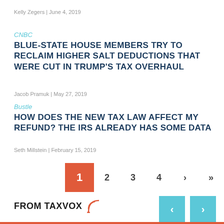Kelly Zegers | June 4, 2019
CNBC
BLUE-STATE HOUSE MEMBERS TRY TO RECLAIM HIGHER SALT DEDUCTIONS THAT WERE CUT IN TRUMP'S TAX OVERHAUL
Jacob Pramuk | May 27, 2019
Bustle
HOW DOES THE NEW TAX LAW AFFECT MY REFUND? THE IRS ALREADY HAS SOME DATA
Seth Millstein | February 15, 2019
1 2 3 4 › »
FROM TAXVOX